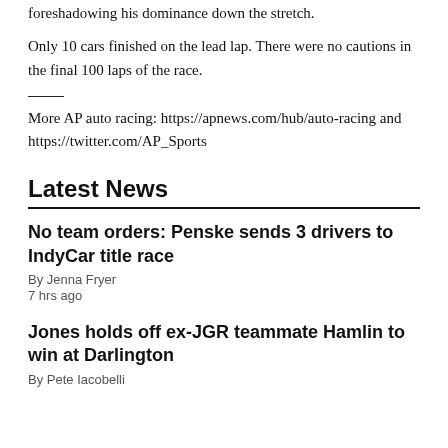foreshadowing his dominance down the stretch.
Only 10 cars finished on the lead lap. There were no cautions in the final 100 laps of the race.
More AP auto racing: https://apnews.com/hub/auto-racing and https://twitter.com/AP_Sports
Latest News
No team orders: Penske sends 3 drivers to IndyCar title race
By Jenna Fryer
7 hrs ago
Jones holds off ex-JGR teammate Hamlin to win at Darlington
By Pete Iacobelli